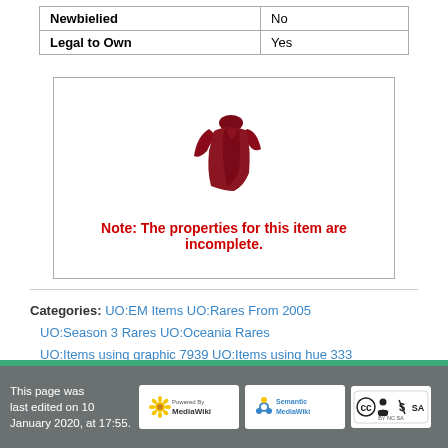| Newbielied | No |
| Legal to Own | Yes |
[Figure (illustration): A dark red/crimson dress item from an online game (Ultima Online), shown as a pixel-art style illustration.]
Note: The properties for this item are incomplete.
Categories:  UO:EM Items    UO:Rares From 2005   UO:Season 3 Rares    UO:Oceania Rares   UO:Items using graphic 7939    UO:Items using hue 333   UO:Wearable Rares    UO:Rare Items
This page was last edited on 10 January 2020, at 17:55.